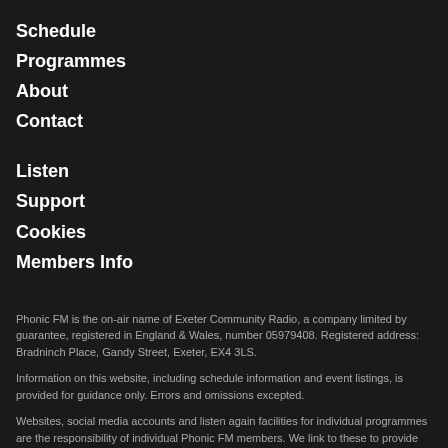Schedule
Programmes
About
Contact
Listen
Support
Cookies
Members Info
Phonic FM is the on-air name of Exeter Community Radio, a company limited by guarantee, registered in England & Wales, number 05979408. Registered address: Bradninch Place, Gandy Street, Exeter, EX4 3LS.
Information on this website, including schedule information and event listings, is provided for guidance only. Errors and omissions excepted.
Websites, social media accounts and listen again facilities for individual programmes are the responsibility of individual Phonic FM members. We link to these to provide extra value to our members and our listeners, but we do not endorse the content. Phonic FM is not responsible for the content of members' own websites, social media feeds or listen again facilities.